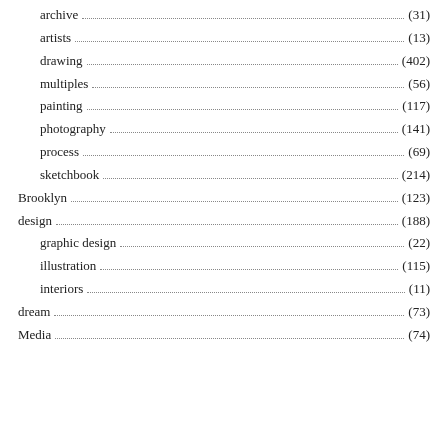archive (31)
artists (13)
drawing (402)
multiples (56)
painting (117)
photography (141)
process (69)
sketchbook (214)
Brooklyn (123)
design (188)
graphic design (22)
illustration (115)
interiors (11)
dream (73)
Media (74)